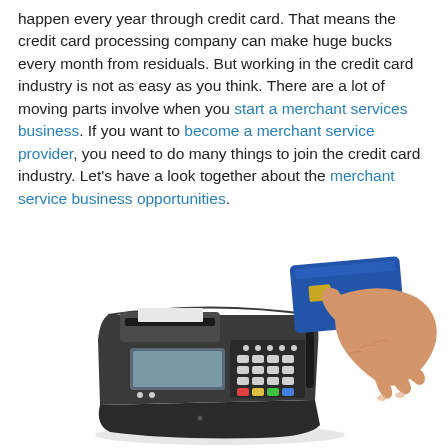happen every year through credit card. That means the credit card processing company can make huge bucks every month from residuals. But working in the credit card industry is not as easy as you think. There are a lot of moving parts involve when you start a merchant services business. If you want to become a merchant service provider, you need to do many things to join the credit card industry. Let's have a look together about the merchant service business opportunities.
[Figure (photo): A hand swiping a blue credit card through a black POS terminal/card payment machine on a white background.]